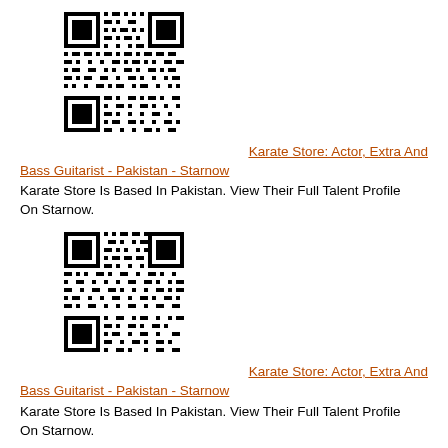[Figure (other): QR code image for Karate Store Starnow profile (first instance)]
Karate Store: Actor, Extra And Bass Guitarist - Pakistan - Starnow
Karate Store Is Based In Pakistan. View Their Full Talent Profile On Starnow.
[Figure (other): QR code image for Karate Store Starnow profile (second instance)]
Karate Store: Actor, Extra And Bass Guitarist - Pakistan - Starnow
Karate Store Is Based In Pakistan. View Their Full Talent Profile On Starnow.
[Figure (other): QR code image for Karate Store Starnow profile (third instance, partially visible)]